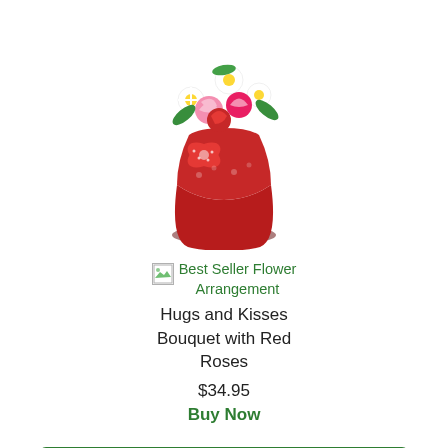[Figure (photo): A floral arrangement in a red vase with white daisies, pink carnations, and red roses, tied with a red polka-dot bow, shown from above against a white background.]
[Figure (illustration): Small broken image icon with green gradient representing Best Seller badge image.]
Best Seller Flower Arrangement
Hugs and Kisses Bouquet with Red Roses
$34.95
Buy Now
SHOP ALL FLOWERS FOR LOVE & ROMANCE